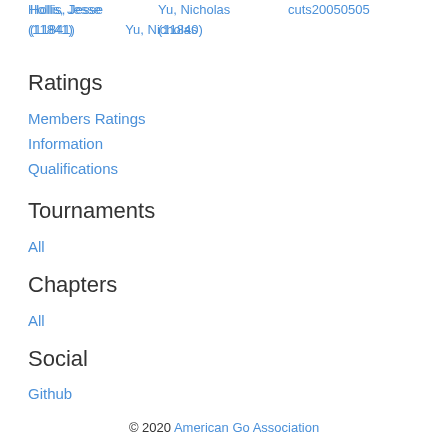Hollis, Jesse (11841)  Yu, Nicholas (11840)  cuts20050505
Ratings
Members Ratings
Information
Qualifications
Tournaments
All
Chapters
All
Social
Github
© 2020 American Go Association